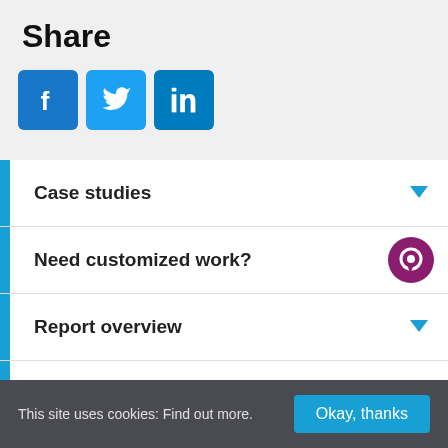Share
[Figure (illustration): Three social media share buttons: Facebook (blue with 'f' logo), Twitter (blue with bird logo), LinkedIn (blue with 'in' logo)]
Case studies
Need customized work?
Report overview
Methodology
This site uses cookies: Find out more.  Okay, thanks